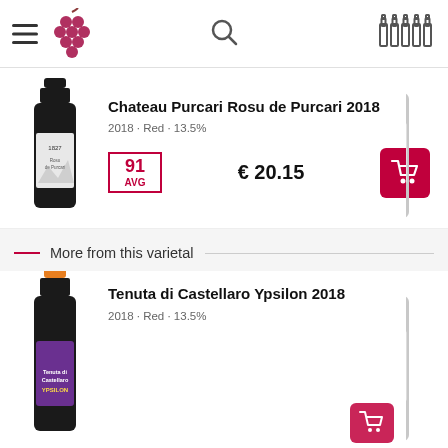Wine app header with hamburger menu, grape logo, search icon, bottles icon
Chateau Purcari Rosu de Purcari 2018
2018 · Red · 13.5%
91 AVG  € 20.15
More from this varietal
Tenuta di Castellaro Ypsilon 2018
2018 · Red · 13.5%